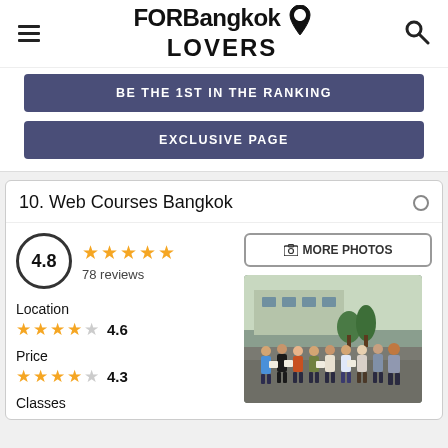FOR Bangkok LOVERS
BE THE 1ST IN THE RANKING
EXCLUSIVE PAGE
10. Web Courses Bangkok
4.8 — 78 reviews
Location 4.6
Price 4.3
Classes
[Figure (photo): Group photo of people holding certificates outside a building]